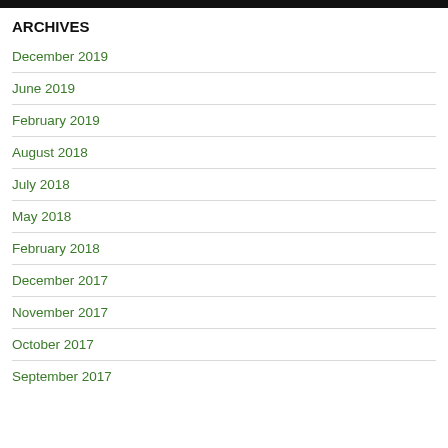ARCHIVES
December 2019
June 2019
February 2019
August 2018
July 2018
May 2018
February 2018
December 2017
November 2017
October 2017
September 2017